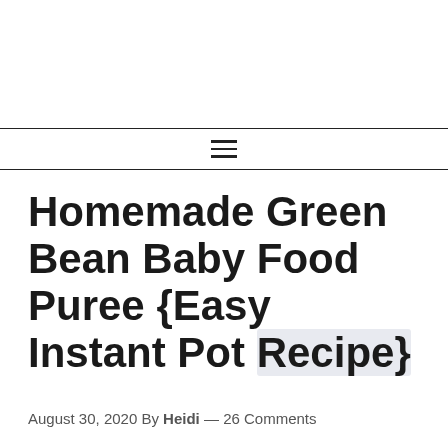≡
Homemade Green Bean Baby Food Puree {Easy Instant Pot Recipe}
August 30, 2020 By Heidi — 26 Comments